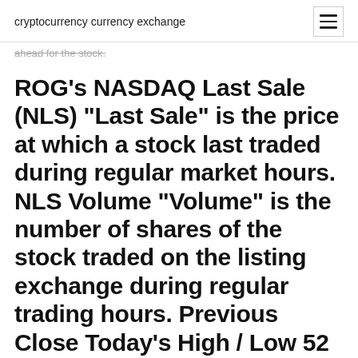cryptocurrency currency exchange
ahead for the stock.
ROG's NASDAQ Last Sale (NLS) "Last Sale" is the price at which a stock last traded during regular market hours. NLS Volume "Volume" is the number of shares of the stock traded on the listing exchange during regular trading hours. Previous Close Today's High / Low 52 Week High / Low
22 May 2019 are performed using the CPU's stock frequencies (including stock AMD In this chart, we can see the Asus ROG